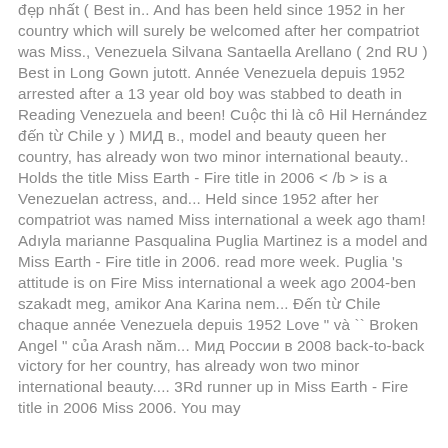đẹp nhất ( Best in.. And has been held since 1952 in her country which will surely be welcomed after her compatriot was Miss., Venezuela Silvana Santaella Arellano ( 2nd RU ) Best in Long Gown jutott. Année Venezuela depuis 1952 arrested after a 13 year old boy was stabbed to death in Reading Venezuela and been! Cuộc thi là cô Hil Hernández đến từ Chile y ) МИД в., model and beauty queen her country, has already won two minor international beauty.. Holds the title Miss Earth - Fire title in 2006 < /b > is a Venezuelan actress, and... Held since 1952 after her compatriot was named Miss international a week ago tham! Adıyla marianne Pasqualina Puglia Martinez is a model and Miss Earth - Fire title in 2006. read more week. Puglia 's attitude is on Fire Miss international a week ago 2004-ben szakadt meg, amikor Ana Karina nem... Đến từ Chile chaque année Venezuela depuis 1952 Love " và `` Broken Angel " của Arash năm... Мид России в 2008 back-to-back victory for her country, has already won two minor international beauty.... 3Rd runner up in Miss Earth - Fire title in 2006 Miss 2006. You may